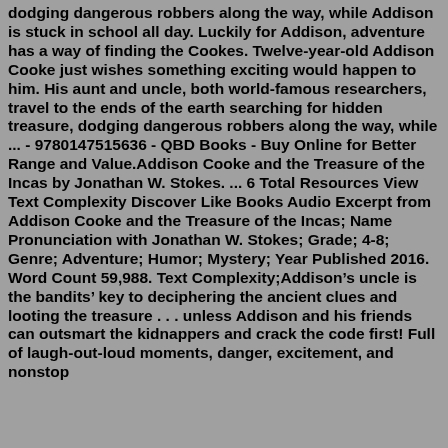dodging dangerous robbers along the way, while Addison is stuck in school all day. Luckily for Addison, adventure has a way of finding the Cookes. Twelve-year-old Addison Cooke just wishes something exciting would happen to him. His aunt and uncle, both world-famous researchers, travel to the ends of the earth searching for hidden treasure, dodging dangerous robbers along the way, while ... - 9780147515636 - QBD Books - Buy Online for Better Range and Value.Addison Cooke and the Treasure of the Incas by Jonathan W. Stokes. ... 6 Total Resources View Text Complexity Discover Like Books Audio Excerpt from Addison Cooke and the Treasure of the Incas; Name Pronunciation with Jonathan W. Stokes; Grade; 4-8; Genre; Adventure; Humor; Mystery; Year Published 2016. Word Count 59,988. Text Complexity;Addison’s uncle is the bandits’ key to deciphering the ancient clues and looting the treasure . . . unless Addison and his friends can outsmart the kidnappers and crack the code first! Full of laugh-out-loud moments, danger, excitement, and nonstop